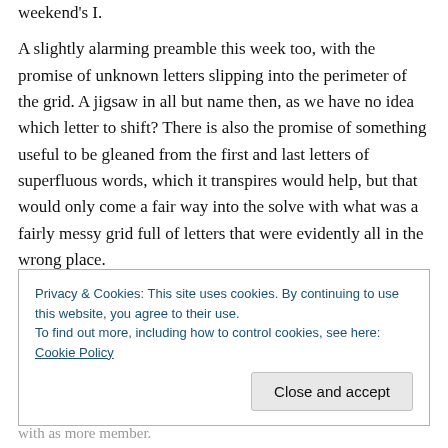weekend's I.
A slightly alarming preamble this week too, with the promise of unknown letters slipping into the perimeter of the grid. A jigsaw in all but name then, as we have no idea which letter to shift? There is also the promise of something useful to be gleaned from the first and last letters of superfluous words, which it transpires would help, but that would only come a fair way into the solve with what was a fairly messy grid full of letters that were evidently all in the wrong place.
Privacy & Cookies: This site uses cookies. By continuing to use this website, you agree to their use. To find out more, including how to control cookies, see here: Cookie Policy
Close and accept
with as more member.